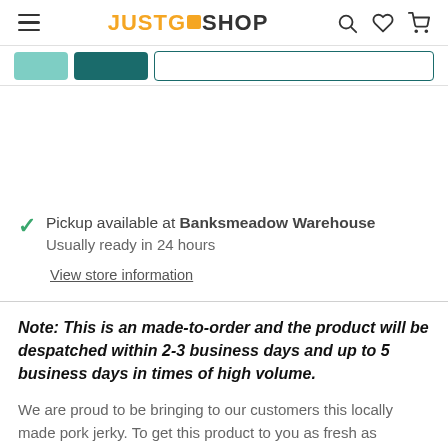JUSTGO SHOP
[Figure (screenshot): Navigation tabs with teal buttons and input field]
Pickup available at Banksmeadow Warehouse
Usually ready in 24 hours

View store information
Note: This is an made-to-order and the product will be despatched within 2-3 business days and up to 5 business days in times of high volume.
We are proud to be bringing to our customers this locally made pork jerky. To get this product to you as fresh as